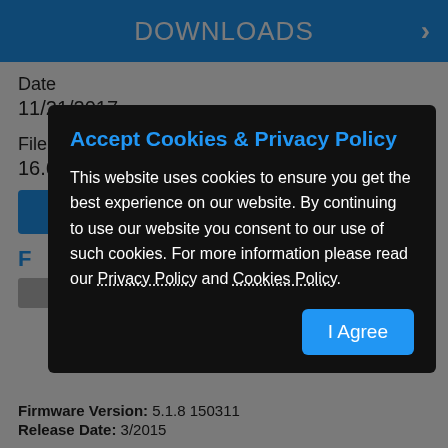DOWNLOADS
Date
11/21/2017
File Size
16.69 mb
[Figure (screenshot): Accept Cookies & Privacy Policy modal overlay on dark background with 'I Agree' button]
Firmware Version: 5.1.8 150311
Release Date: 3/2015